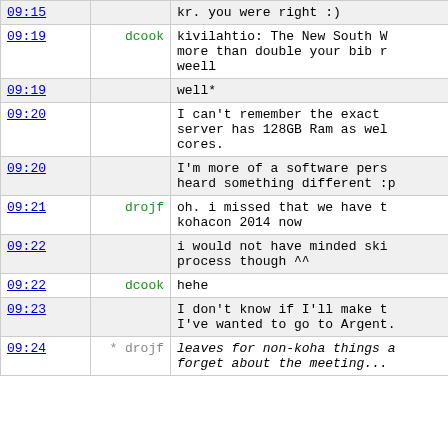| time | user | message |
| --- | --- | --- |
| 09:15 |  | kr. you were right :) |
| 09:19 | dcook | kivilahtio: The New South W... more than double your bib r... weell |
| 09:19 |  | well* |
| 09:20 |  | I can't remember the exact server has 128GB Ram as wel... cores. |
| 09:20 |  | I'm more of a software pers... heard something different :p |
| 09:21 | drojf | oh. i missed that we have t... kohacon 2014 now |
| 09:22 |  | i would not have minded ski... process though ^^ |
| 09:22 | dcook | hehe |
| 09:23 |  | I don't know if I'll make t... I've wanted to go to Argent... |
| 09:24 | * drojf | leaves for non-koha things... forget about the meeting... |